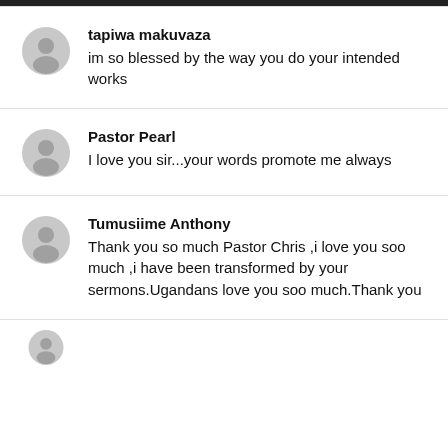tapiwa makuvaza
im so blessed by the way you do your intended works
Pastor Pearl
I love you sir...your words promote me always
Tumusiime Anthony
Thank you so much Pastor Chris ,i love you soo much ,i have been transformed by your sermons.Ugandans love you soo much.Thank you